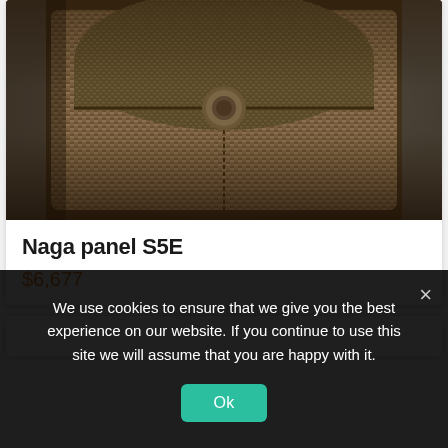[Figure (photo): Close-up photo of a woven Naga panel bag (S5E) with a round button clasp closure, textured woven surface in brown/tan tones]
Naga panel S5E
$6,677
We use cookies to ensure that we give you the best experience on our website. If you continue to use this site we will assume that you are happy with it.